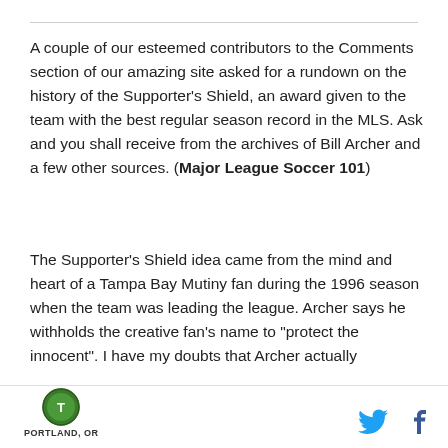A couple of our esteemed contributors to the Comments section of our amazing site asked for a rundown on the history of the Supporter's Shield, an award given to the team with the best regular season record in the MLS. Ask and you shall receive from the archives of Bill Archer and a few other sources. (Major League Soccer 101)
The Supporter's Shield idea came from the mind and heart of a Tampa Bay Mutiny fan during the 1996 season when the team was leading the league. Archer says he withholds the creative fan's name to "protect the innocent". I have my doubts that Archer actually
PORTLAND, OR